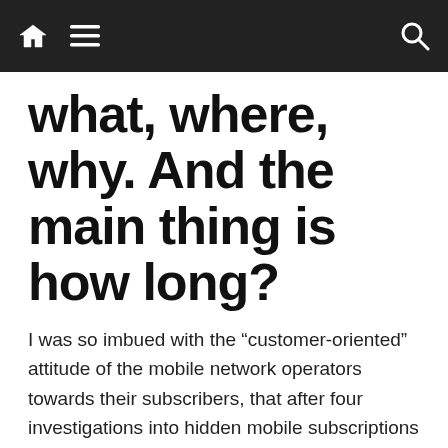Navigation bar with home, menu, and search icons
what, where, why. And the main thing is how long?
I was so imbued with the “customer-oriented” attitude of the mobile network operators towards their subscribers, that after four investigations into hidden mobile subscriptions I decided to go even further and check: how do they deal with the personal data of subscribers?
We use cookies to ensure that we give you the best experience on our website. If you continue to use this site we will assume that you are happy with it.
In the information field, the topic of piercing constantly arises, just think of the “Eye of God”, a Telegram bot for finding information about people